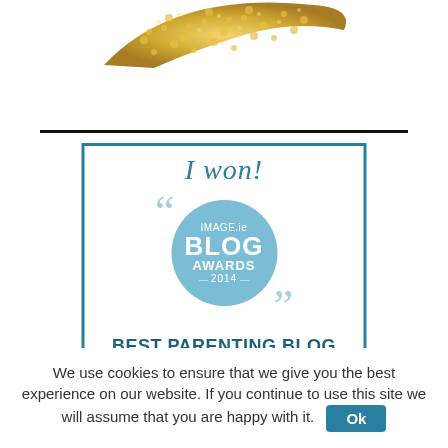[Figure (illustration): Gold sequin or glittery decorative shape (partial, cropped at top)]
[Figure (illustration): IMAGE.ie Blog Awards 2014 badge with text 'I won!' and 'BEST PARENTING BLOG' inside a blue circle with quotation marks]
We use cookies to ensure that we give you the best experience on our website. If you continue to use this site we will assume that you are happy with it. Ok